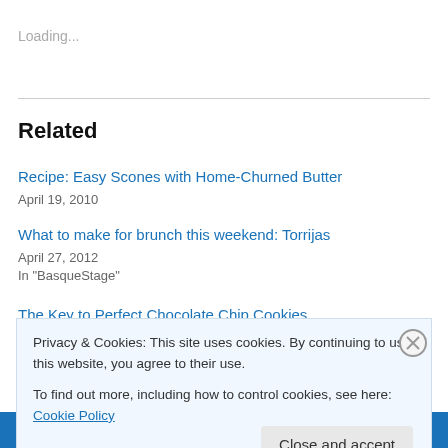Loading...
Related
Recipe: Easy Scones with Home-Churned Butter
April 19, 2010
What to make for brunch this weekend: Torrijas
April 27, 2012
In "BasqueStage"
The Key to Perfect Chocolate Chip Cookies
Privacy & Cookies: This site uses cookies. By continuing to use this website, you agree to their use.
To find out more, including how to control cookies, see here: Cookie Policy
Close and accept